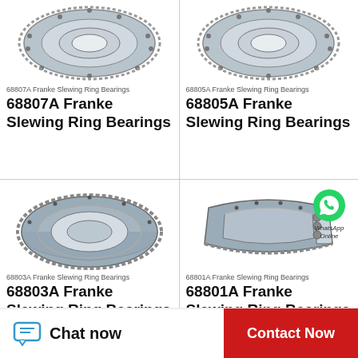[Figure (photo): 68807A Franke Slewing Ring Bearing product photo - top half left]
68807A Franke Slewing Ring Bearings
68807A Franke Slewing Ring Bearings
[Figure (photo): 68805A Franke Slewing Ring Bearing product photo - top half right]
68805A Franke Slewing Ring Bearings
68805A Franke Slewing Ring Bearings
[Figure (photo): 68803A Franke Slewing Ring Bearing product photo - bottom half left]
68803A Franke Slewing Ring Bearings
68803A Franke Slewing Ring Bearings
[Figure (photo): 68801A Franke Slewing Ring Bearing product photo - bottom half right, with WhatsApp Online overlay]
68801A Franke Slewing Ring Bearings
68801A Franke Slewing Ring Bearings
Chat now
Contact Now